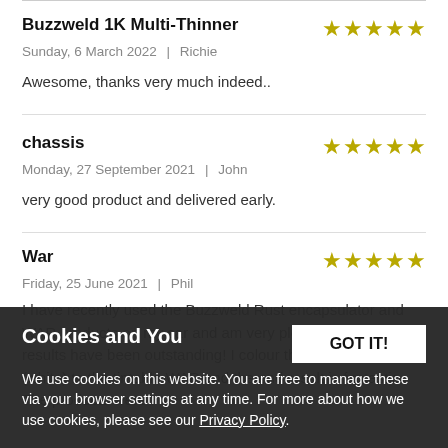Buzzweld 1K Multi-Thinner
Sunday, 6 March 2022  |  Richie
Awesome, thanks very much indeed..
chassis
Monday, 27 September 2021  |  John
very good product and delivered early.
War
Friday, 25 June 2021  |  Phil
I have recently used the Buzzweld Rust encapsulator and WAR products on my car and am very pleased with the results have been outstanding! I colour the body colour (white) to the tintable WAR and the end result is fantastic. The products were
Cookies and You
We use cookies on this website. You are free to manage these via your browser settings at any time. For more about how we use cookies, please see our Privacy Policy.
GOT IT!